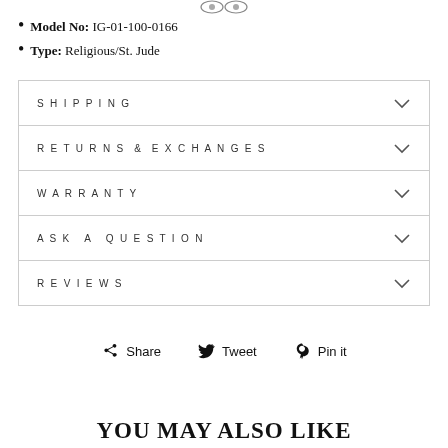[Figure (logo): Small logo/emblem at top center]
Model No: IG-01-100-0166
Type: Religious/St. Jude
SHIPPING
RETURNS & EXCHANGES
WARRANTY
ASK A QUESTION
REVIEWS
Share  Tweet  Pin it
YOU MAY ALSO LIKE